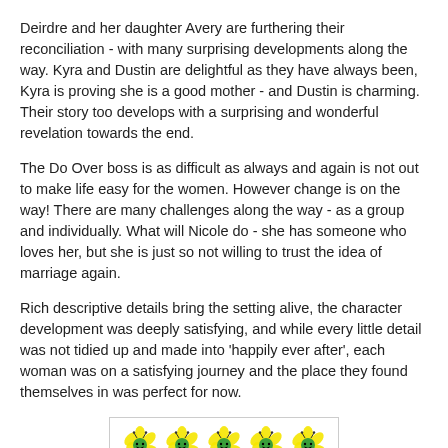Deirdre and her daughter Avery are furthering their reconciliation - with many surprising developments along the way.  Kyra and Dustin are delightful as they have always been, Kyra is proving she is a good mother - and Dustin is charming.  Their story too develops with a surprising and wonderful revelation towards the end.
The Do Over boss is as difficult as always and again is not out to make life easy for the women. However change is on the way! There are many challenges along the way - as a group and individually.  What will Nicole do - she has someone who loves her, but she is just so not willing to trust the idea of marriage again.
Rich descriptive details bring the setting alive, the character development was deeply satisfying, and while every little detail was not tidied up and made into 'happily ever after', each woman was on a satisfying journey and the place they found themselves in was perfect for now.
[Figure (illustration): Five yellow cartoon bee/flower emoji icons arranged in a row inside a bordered box]